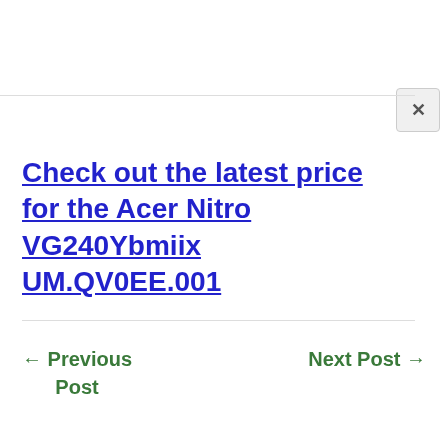Check out the latest price for the Acer Nitro VG240Ybmiix UM.QV0EE.001
← Previous Post
Next Post →